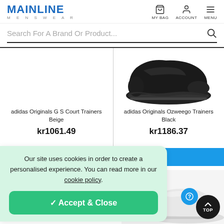MAINLINE MENSWEAR — MY BAG, ACCOUNT, MENU
Search For A Brand Or Product...
adidas Originals G S Court Trainers Beige
kr1061.49
adidas Originals Ozweego Trainers Black
kr1186.37
[Figure (photo): Black adidas Originals Ozweego trainer shoe photographed from the side against a white background]
Our site uses cookies in order to create a personalised experience. You can read more in our cookie policy.
✓ Accept & Close
[Figure (photo): Partial view of a white/light-colored trainer shoe in bottom right of page]